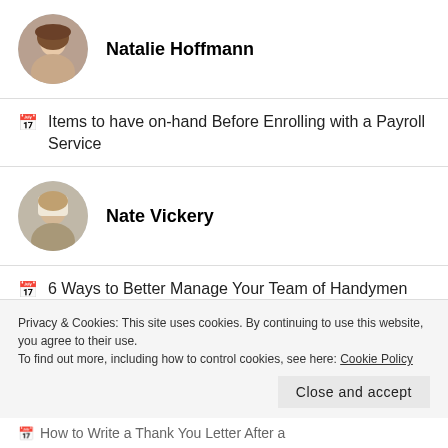[Figure (photo): Circular avatar photo of Natalie Hoffmann, a woman with brown hair]
Natalie Hoffmann
Items to have on-hand Before Enrolling with a Payroll Service
[Figure (photo): Circular avatar photo of Nate Vickery, a man]
Nate Vickery
6 Ways to Better Manage Your Team of Handymen
[Figure (photo): Partial circular avatar, blue/dark color, partially visible]
Privacy & Cookies: This site uses cookies. By continuing to use this website, you agree to their use.
To find out more, including how to control cookies, see here: Cookie Policy
Close and accept
How to Write a Thank You Letter After a